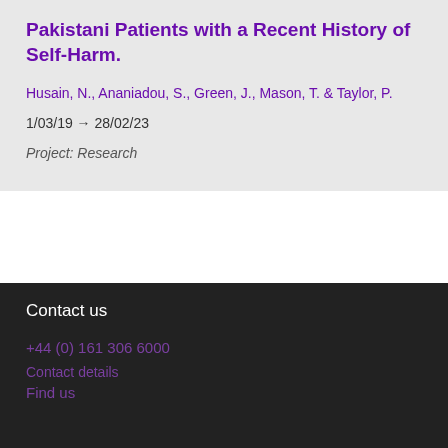Pakistani Patients with a Recent History of Self-Harm.
Husain, N., Ananiadou, S., Green, J., Mason, T. & Taylor, P.
1/03/19 → 28/02/23
Project: Research
Contact us
+44 (0) 161 306 6000
Contact details
Find us